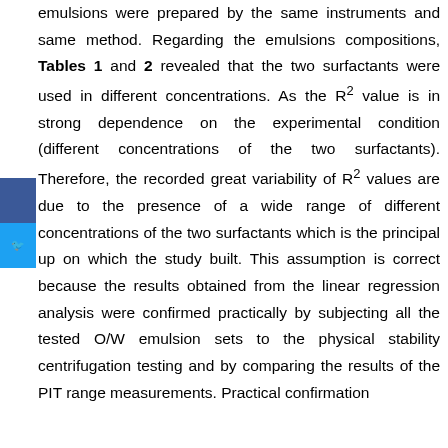emulsions were prepared by the same instruments and same method. Regarding the emulsions compositions, Tables 1 and 2 revealed that the two surfactants were used in different concentrations. As the R² value is in strong dependence on the experimental condition (different concentrations of the two surfactants). Therefore, the recorded great variability of R² values are due to the presence of a wide range of different concentrations of the two surfactants which is the principal up on which the study built. This assumption is correct because the results obtained from the linear regression analysis were confirmed practically by subjecting all the tested O/W emulsion sets to the physical stability centrifugation testing and by comparing the results of the PIT range measurements. Practical confirmation